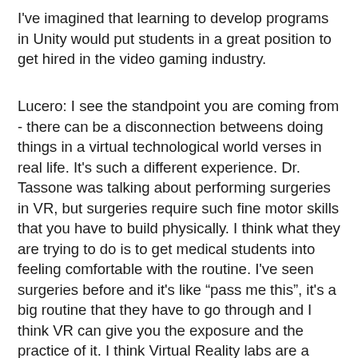I've imagined that learning to develop programs in Unity would put students in a great position to get hired in the video gaming industry.
Lucero: I see the standpoint you are coming from - there can be a disconnection betweens doing things in a virtual technological world verses in real life. It's such a different experience. Dr. Tassone was talking about performing surgeries in VR, but surgeries require such fine motor skills that you have to build physically. I think what they are trying to do is to get medical students into feeling comfortable with the routine. I've seen surgeries before and it's like “pass me this”, it's a big routine that they have to go through and I think VR can give you the exposure and the practice of it. I think Virtual Reality labs are a really important way to be able to apply things you learned in class settings.